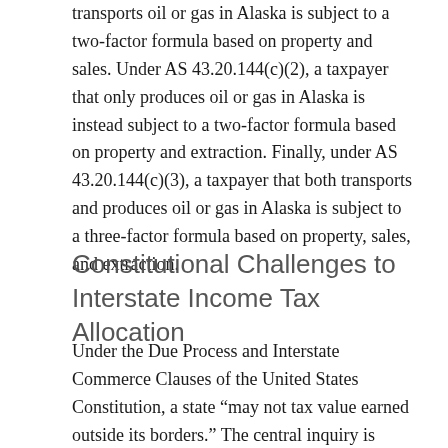transports oil or gas in Alaska is subject to a two-factor formula based on property and sales. Under AS 43.20.144(c)(2), a taxpayer that only produces oil or gas in Alaska is instead subject to a two-factor formula based on property and extraction. Finally, under AS 43.20.144(c)(3), a taxpayer that both transports and produces oil or gas in Alaska is subject to a three-factor formula based on property, sales, and extraction.
Constitutional Challenges to Interstate Income Tax Allocation
Under the Due Process and Interstate Commerce Clauses of the United States Constitution, a state “may not tax value earned outside its borders.” The central inquiry is “whether the state has given anything for which it can ask return.” But the United States Supreme Court has long recognized that taxing multi-state companies